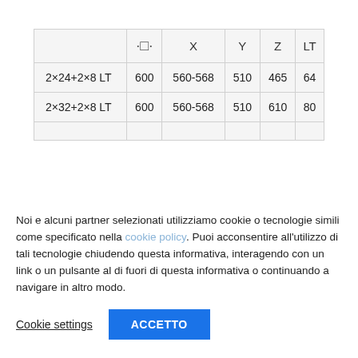|  | ☐ | X | Y | Z | LT |
| --- | --- | --- | --- | --- | --- |
| 2×24+2×8 LT | 600 | 560-568 | 510 | 465 | 64 |
| 2×32+2×8 LT | 600 | 560-568 | 510 | 610 | 80 |
|  |  |  |  |  |  |
Noi e alcuni partner selezionati utilizziamo cookie o tecnologie simili come specificato nella cookie policy. Puoi acconsentire all'utilizzo di tali tecnologie chiudendo questa informativa, interagendo con un link o un pulsante al di fuori di questa informativa o continuando a navigare in altro modo.
Cookie settings | ACCETTO